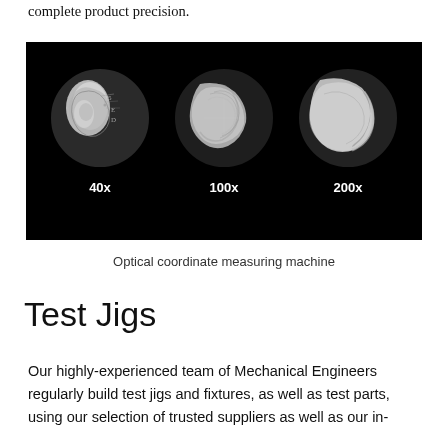complete product precision.
[Figure (photo): Three microscope images of a coin surface at 40x, 100x, and 200x magnification, shown against a black background.]
Optical coordinate measuring machine
Test Jigs
Our highly-experienced team of Mechanical Engineers regularly build test jigs and fixtures, as well as test parts, using our selection of trusted suppliers as well as our in-